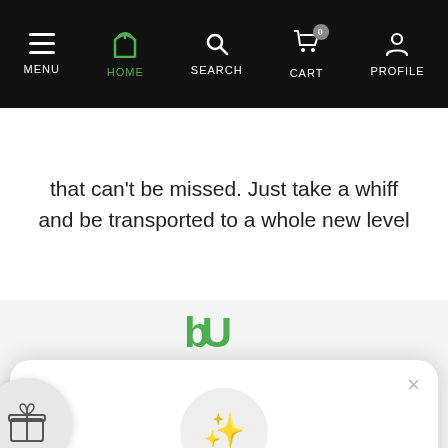MENU | HOME | SEARCH | CART | PROFILE
that can't be missed. Just take a whiff and be transported to a whole new level
[Figure (screenshot): Partial logo visible in background]
[Figure (infographic): Modal popup: Unlock exclusive rewards and perks. Sign up or Log in. Sign up button. Already have an account? Sign in.]
Unlock exclusive rewards and perks
Sign up or Log in
Sign up
Already have an account? Sign in